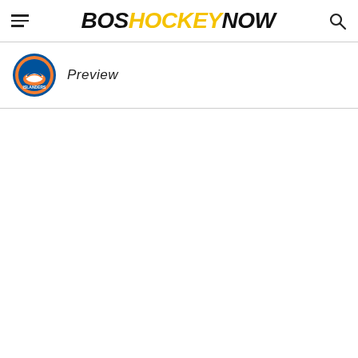BOSHOCKEYNOW
[Figure (logo): New York Islanders team logo circular badge]
Preview